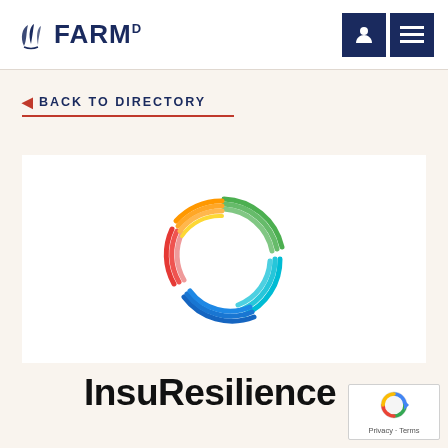FARM D
BACK TO DIRECTORY
[Figure (logo): InsuResilience colorful circular swirl logo made of multi-colored arc bands in green, teal, blue, red/pink, orange, and yellow forming a circular shape]
InsuResilience